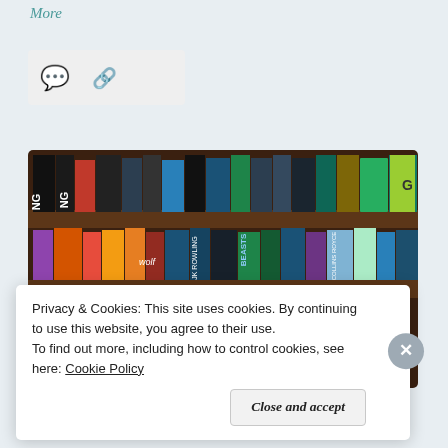More
[Figure (screenshot): Social sharing bar with comment icon and share/link icon on a light grey background]
[Figure (photo): Photograph of a bookshelf with various book spines visible including works by JK Rowling, with a white rounded card overlay showing 'November WRAP UP & HAUL' in blue and black text]
Privacy & Cookies: This site uses cookies. By continuing to use this website, you agree to their use.
To find out more, including how to control cookies, see here: Cookie Policy
Close and accept